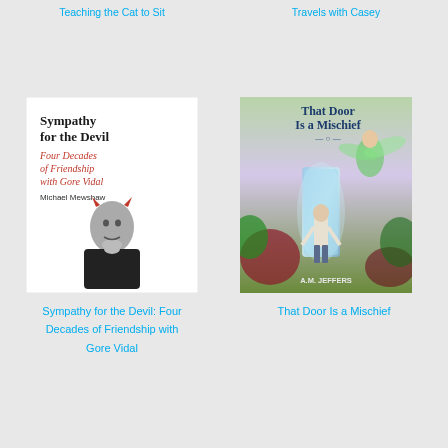Teaching the Cat to Sit
Travels with Casey
[Figure (illustration): Book cover for 'Sympathy for the Devil: Four Decades of Friendship with Gore Vidal' by Michael Mewshaw. White background with black and white photo of a man resting chin on hand, with small red devil horns added. Title in black serif font, subtitle in red italic font.]
[Figure (illustration): Book cover for 'That Door Is a Mischief' with colorful fantasy art showing a person standing at a glowing door with fairy/dragonfly creature, flowers and foliage. Text by 'A.M. Jeffers' at bottom.]
Sympathy for the Devil: Four Decades of Friendship with Gore Vidal
That Door Is a Mischief